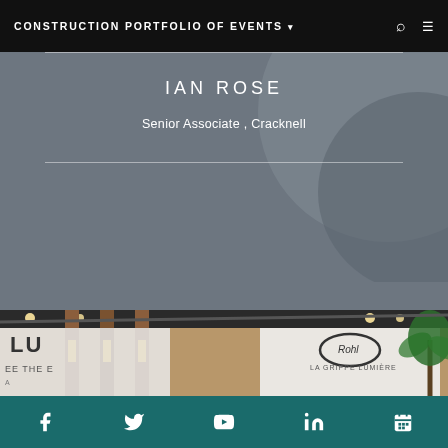CONSTRUCTION PORTFOLIO OF EVENTS
IAN ROSE
Senior Associate , Cracknell
[Figure (photo): Exhibition hall photo showing Lumi and Rohl brand displays with palm tree decoration and overhead lighting]
Social media icons: Facebook, Twitter, YouTube, LinkedIn, Calendar